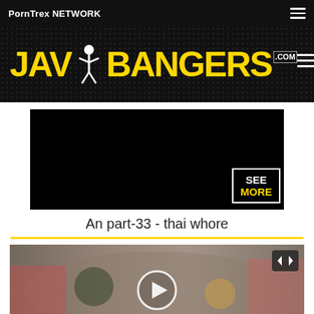PornTrex NETWORK
[Figure (logo): JAV BANGERS .COM logo in yellow on dark background]
[Figure (screenshot): Black video thumbnail with SEE MORE overlay button]
An part-33 - thai whore
[Figure (screenshot): Video thumbnail showing blurred market scene with play button and embed icon]